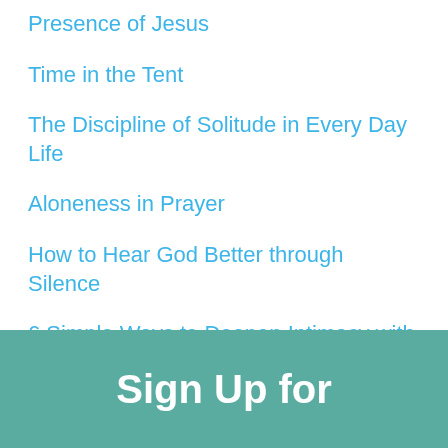Presence of Jesus
Time in the Tent
The Discipline of Solitude in Every Day Life
Aloneness in Prayer
How to Hear God Better through Silence
6 Simple Ways to Deepen Intimacy with God through Prayer
Sign Up for